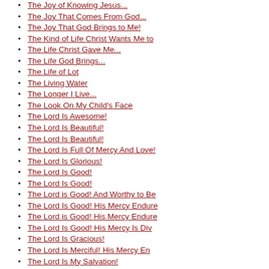The Joy of Knowing Jesus...
The Joy That Comes From God...
The Joy That God Brings to Me!
The Kind of Life Christ Wants Me to
The Life Christ Gave Me...
The Life God Brings...
The Life of Lot
The Living Water
The Longer I Live...
The Look On My Child's Face
The Lord Is Awesome!
The Lord Is Beautiful!
The Lord Is Beautiful!
The Lord Is Full Of Mercy And Love!
The Lord Is Glorious!
The Lord Is Good!
The Lord Is Good!
The Lord is Good! And Worthy to Be
The Lord Is Good! His Mercy Endure
The Lord is Good! His Mercy Endure
The Lord Is Good! His Mercy Is Div
The Lord Is Gracious!
The Lord Is Merciful! His Mercy En
The Lord Is My Salvation!
The Lord Is My Salvation!
The Lord Is Wonderful!
The Lord Reigns!
The Lord's Love Endures Forever!
The Lord's Mercy Is around Me!
The Lord's Mercy Is Endless!